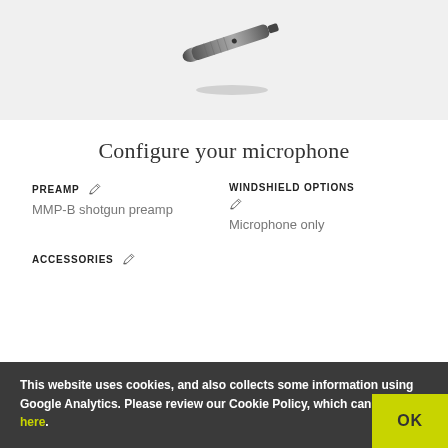[Figure (photo): Close-up photo of a shotgun microphone body (black cylindrical shape) on a light gray background, partially visible at top of page]
Configure your microphone
PREAMP — MMP-B shotgun preamp
WINDSHIELD OPTIONS — Microphone only
ACCESSORIES
This website uses cookies, and also collects some information using Google Analytics. Please review our Cookie Policy, which can be found here.